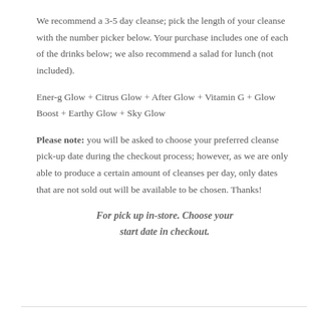We recommend a 3-5 day cleanse; pick the length of your cleanse with the number picker below. Your purchase includes one of each of the drinks below; we also recommend a salad for lunch (not included).
Ener-g Glow + Citrus Glow + After Glow + Vitamin G + Glow Boost + Earthy Glow + Sky Glow
Please note: you will be asked to choose your preferred cleanse pick-up date during the checkout process; however, as we are only able to produce a certain amount of cleanses per day, only dates that are not sold out will be available to be chosen. Thanks!
For pick up in-store. Choose your start date in checkout.